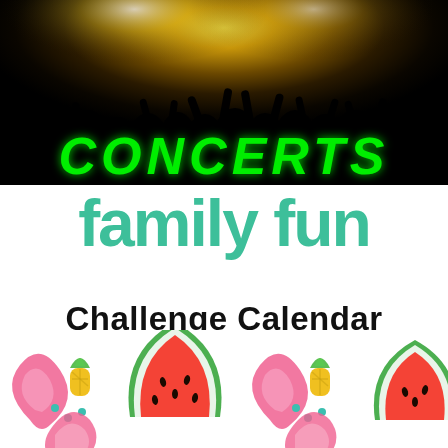[Figure (photo): Concert crowd photo with silhouettes of people with raised hands against bright yellow stage lights, dark background. The word CONCERTS overlaid in large bright green italic bold letters at the bottom of the image.]
Family Fun
Challenge Calendar
[Figure (illustration): Colorful summer fruit pattern with watermelon slices, pineapples, and pink swirl shapes on white background, repeating pattern.]